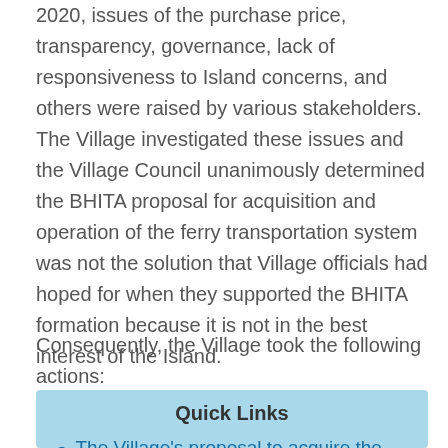2020, issues of the purchase price, transparency, governance, lack of responsiveness to Island concerns, and others were raised by various stakeholders.  The Village investigated these issues and the Village Council unanimously determined the BHITA proposal for acquisition and operation of the ferry transportation system was not the solution that Village officials had hoped for when they supported the BHITA formation because it is not in the best interest of the Island.
Consequently, the Village took the following actions:
Quick Links
The Village's proposal to acquire the